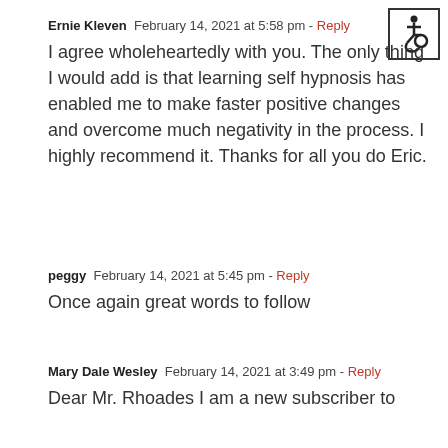[Figure (other): Wheelchair accessibility icon in a bordered box, top-right corner]
Ernie Kleven  February 14, 2021 at 5:58 pm - Reply
I agree wholeheartedly with you. The only thing I would add is that learning self hypnosis has enabled me to make faster positive changes and overcome much negativity in the process. I highly recommend it. Thanks for all you do Eric.
peggy  February 14, 2021 at 5:45 pm - Reply
Once again great words to follow
Mary Dale Wesley  February 14, 2021 at 3:49 pm - Reply
Dear Mr. Rhoades I am a new subscriber to